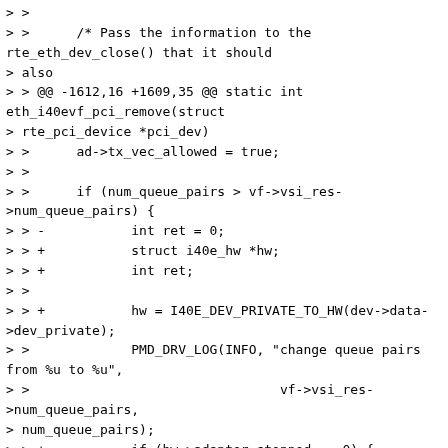> >
> >      /* Pass the information to the rte_eth_dev_close() that it should
> also
> > @@ -1612,16 +1609,35 @@ static int eth_i40evf_pci_remove(struct
> rte_pci_device *pci_dev)
> >      ad->tx_vec_allowed = true;
> >
> >      if (num_queue_pairs > vf->vsi_res->num_queue_pairs) {
> > -           int ret = 0;
> > +           struct i40e_hw *hw;
> > +           int ret;
> >
> > +           hw = I40E_DEV_PRIVATE_TO_HW(dev->data->dev_private);
> >             PMD_DRV_LOG(INFO, "change queue pairs from %u to %u",
> >                                vf->vsi_res->num_queue_pairs,
> num_queue_pairs);
> > +           if (hw->adapter_stopped == 0) {
> > +                   PMD_DRV_LOG(WARNING, "Device must be
> stopped first!");
> > +           return -EINVAL;
> > +           }
> > +
> > +